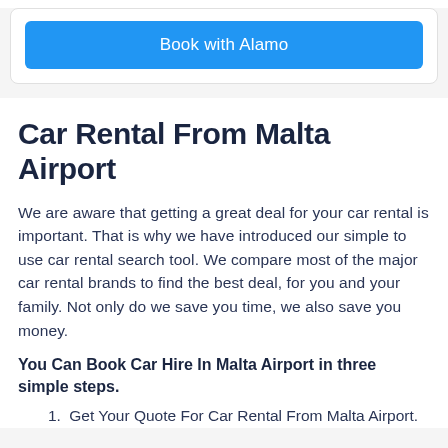[Figure (other): Blue button labeled 'Book with Alamo' inside a white card with border]
Car Rental From Malta Airport
We are aware that getting a great deal for your car rental is important. That is why we have introduced our simple to use car rental search tool. We compare most of the major car rental brands to find the best deal, for you and your family. Not only do we save you time, we also save you money.
You Can Book Car Hire In Malta Airport in three simple steps.
1. Get Your Quote For Car Rental From Malta Airport.